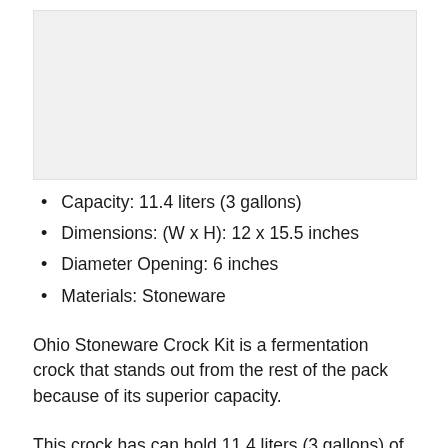[Figure (photo): Product photo placeholder — gray rectangle representing an Ohio Stoneware Crock Kit image]
Capacity: 11.4 liters (3 gallons)
Dimensions: (W x H): 12 x 15.5 inches
Diameter Opening: 6 inches
Materials: Stoneware
Ohio Stoneware Crock Kit is a fermentation crock that stands out from the rest of the pack because of its superior capacity.
This crock has can hold 11.4 liters (3 gallons) of content, allowing you to preserve numerous